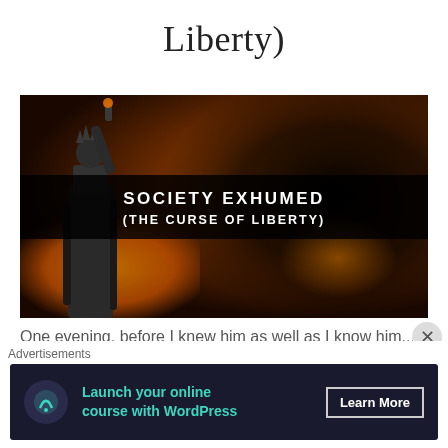Liberty)
[Figure (illustration): Promotional image for 'Society Exhumed (The Curse of Liberty)' showing a silhouette of the Statue of Liberty against a fiery orange and dark swirling background, with a black banner overlay displaying the title text in white uppercase letters.]
One evening, before I knew him as well as I know him...
Advertisements
[Figure (other): Advertisement banner: 'Launch your online course with WordPress' with a Learn More button, dark navy background with teal text, featuring a circular icon.]